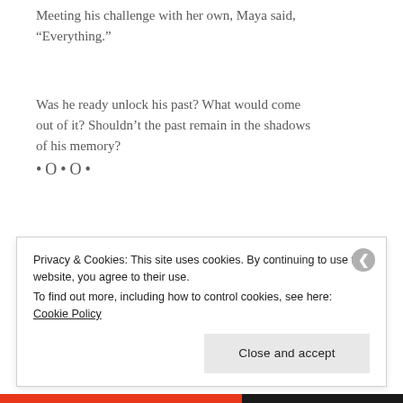Meeting his challenge with her own, Maya said, “Everything.”
Was he ready unlock his past? What would come out of it? Shouldn’t the past remain in the shadows of his memory?
•O•O•
Privacy & Cookies: This site uses cookies. By continuing to use this website, you agree to their use.
To find out more, including how to control cookies, see here: Cookie Policy
Close and accept